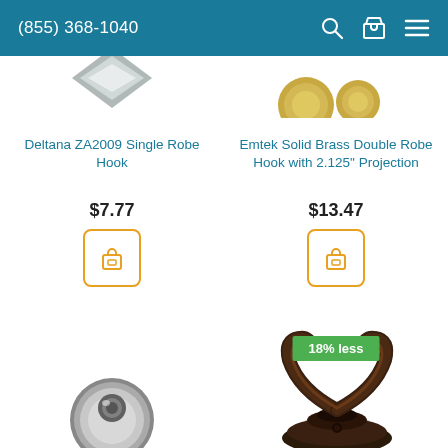(855) 368-1040
Deltana ZA2009 Single Robe Hook
$7.77
Emtek Solid Brass Double Robe Hook with 2.125" Projection
$13.47
18% less
[Figure (photo): Partial view of Deltana ZA2009 Single Robe Hook product - silver/nickel finish]
[Figure (photo): Partial view of Emtek Solid Brass Double Robe Hook product - brass/gold finish]
[Figure (photo): Chrome round single robe hook, bottom portion visible]
[Figure (photo): Oil-rubbed bronze double robe hook with 18% less badge, bottom portion visible]